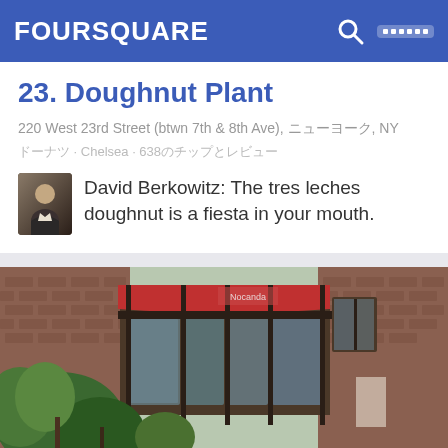FOURSQUARE
23. Doughnut Plant
220 West 23rd Street (btwn 7th & 8th Ave), ニューヨーク, NY
ドーナツ · Chelsea · 638のチップとレビュー
David Berkowitz: The tres leches doughnut is a fiesta in your mouth.
[Figure (photo): Exterior photo of restaurant Locanda Verde showing brick facade, large glass windows with dark frames, red awning, and green trees/plants in foreground]
24. Locanda Verde